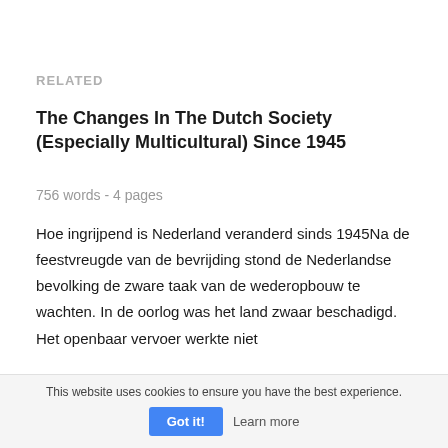RELATED
The Changes In The Dutch Society (Especially Multicultural) Since 1945
756 words - 4 pages
Hoe ingrijpend is Nederland veranderd sinds 1945Na de feestvreugde van de bevrijding stond de Nederlandse bevolking de zware taak van de wederopbouw te wachten. In de oorlog was het land zwaar beschadigd. Het openbaar vervoer werkte niet
This website uses cookies to ensure you have the best experience.